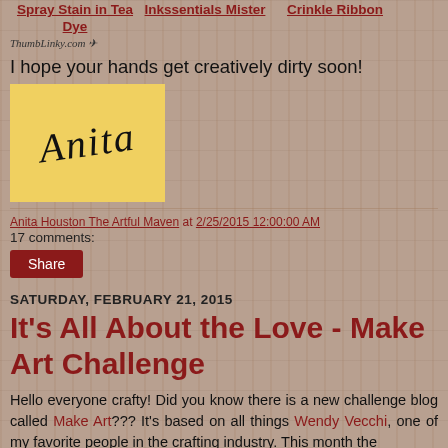Spray Stain in Tea Dye   Inkssentials Mister   Crinkle Ribbon
ThumbLinky.com
I hope your hands get creatively dirty soon!
[Figure (illustration): Yellow signature box with cursive script signature reading 'Anita']
Anita Houston The Artful Maven at 2/25/2015 12:00:00 AM
17 comments:
Share
SATURDAY, FEBRUARY 21, 2015
It's All About the Love - Make Art Challenge
Hello everyone crafty! Did you know there is a new challenge blog called Make Art??? It's based on all things Wendy Vecchi, one of my favorite people in the crafting industry. This month the challenge is "You" themed, and the brief for that…